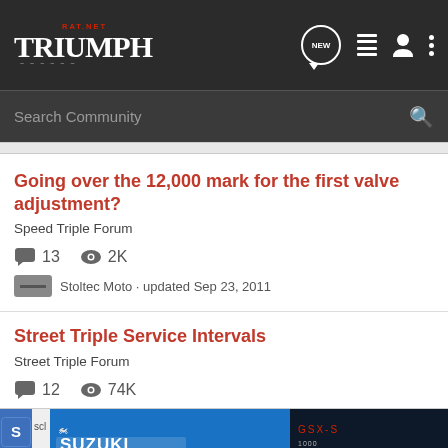Triumph RAT.NET - Search Community
Going over the 12,000 mark for the first valve adjustment?
Speed Triple Forum
13 replies · 2K views · Stoltec Moto · updated Sep 23, 2011
Street Triple Service Intervals
Street Triple Forum
12 replies · 74K views
[Figure (advertisement): Suzuki GSX-S1000GT advertisement banner with motorcycle image and 'SEE IT NOW >>' call to action]